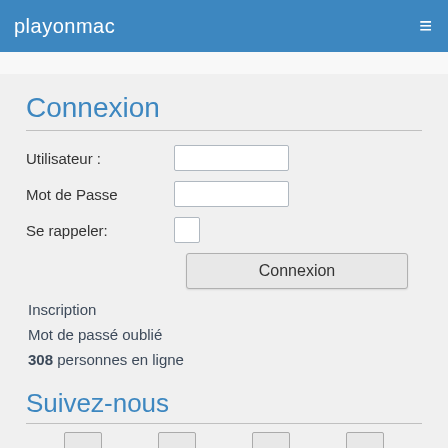playonmac
Connexion
Utilisateur :
Mot de Passe
Se rappeler:
Connexion
Inscription
Mot de passé oublié
308 personnes en ligne
Suivez-nous
[Figure (other): Four social media icon boxes displayed in a row]